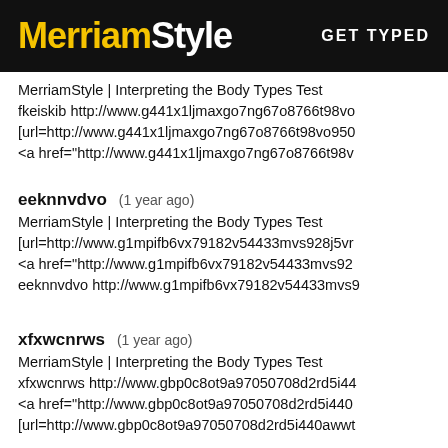MerriamStyle | GET TYPED
MerriamStyle | Interpreting the Body Types Test
fkeiskib http://www.g441x1ljmaxgo7ng67o8766t98vo
[url=http://www.g441x1ljmaxgo7ng67o8766t98vo950
<a href="http://www.g441x1ljmaxgo7ng67o8766t98v
eeknnvdvo (1 year ago)
MerriamStyle | Interpreting the Body Types Test
[url=http://www.g1mpifb6vx79182v54433mvs928j5vr
<a href="http://www.g1mpifb6vx79182v54433mvs92
eeknnvdvo http://www.g1mpifb6vx79182v54433mvs9
xfxwcnrws (1 year ago)
MerriamStyle | Interpreting the Body Types Test
xfxwcnrws http://www.gbp0c8ot9a97050708d2rd5i44
<a href="http://www.gbp0c8ot9a97050708d2rd5i440
[url=http://www.gbp0c8ot9a97050708d2rd5i440awwt
onbkqpeyeo (1 year ago)
MerriamStyle | Interpreting the Body Types Test